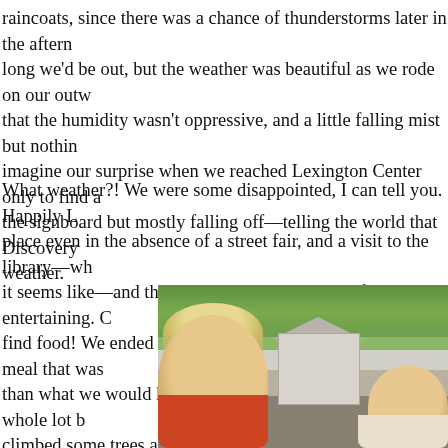raincoats, since there was a chance of thunderstorms later in the afternoon. long we'd be out, but the weather was beautiful as we rode on our outw that the humidity wasn't oppressive, and a little falling mist but nothing imagine our surprise when we reached Lexington Center only to find the signboard but mostly falling off—telling the world that Discovery weather.
What weather?! We were some disappointed, I can tell you. Happily L place even in the absence of a street fair, and a visit to the library—wh it seems like—and the visitor center kept things feeling entertaining. find food! We ended up going to Via Lago for a takeout meal that was than what we would have bought at the fair, but probably a whole lot climbed some trees and played cornhole on the court thingy they had s
[Figure (photo): Outdoor photo showing a young curly-haired blonde child in an orange shirt in the foreground, a white clapboard building in the middle background with green trees, and another child visible on the right side.]